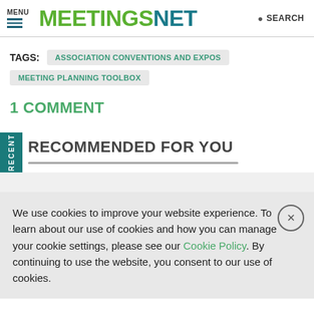MENU | MEETINGSNET | SEARCH
TAGS: ASSOCIATION CONVENTIONS AND EXPOS MEETING PLANNING TOOLBOX
1 COMMENT
RECOMMENDED FOR YOU
We use cookies to improve your website experience. To learn about our use of cookies and how you can manage your cookie settings, please see our Cookie Policy. By continuing to use the website, you consent to our use of cookies.